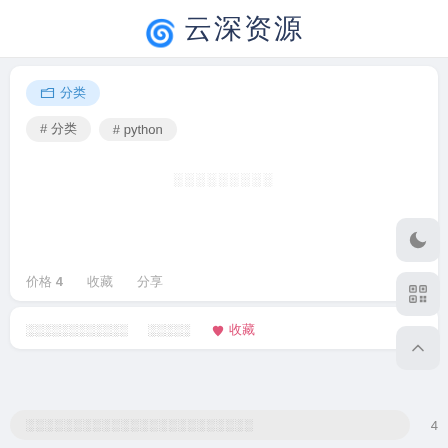云深资源
分 类标签: #分类 #python
（占位内容区域）
价格4  收藏  分享
（第二张卡片内容）
♡ 收藏
（输入框占位文字）
4